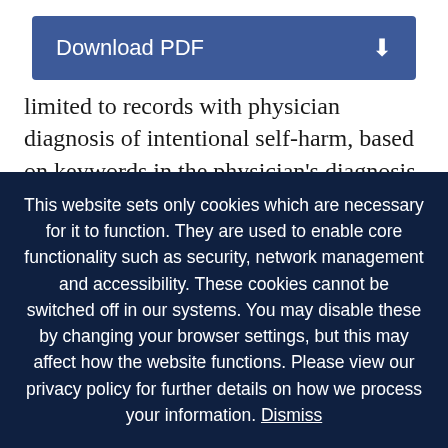[Figure (screenshot): Download PDF button with blue background and download icon]
limited to records with physician diagnosis of intentional self-harm, based on keywords in the physician's diagnosis. For the second PPV, the numerator was the number of records with a physician diagnosis or other physician documentation in the medical record that would support an ICD-10-CM code for intentional self-
This website sets only cookies which are necessary for it to function. They are used to enable core functionality such as security, network management and accessibility. These cookies cannot be switched off in our systems. You may disable these by changing your browser settings, but this may affect how the website functions. Please view our privacy policy for further details on how we process your information. Dismiss